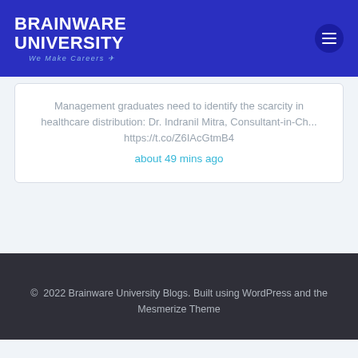[Figure (logo): Brainware University logo with text 'BRAINWARE UNIVERSITY' and tagline 'We Make Careers' on blue background, with a hamburger menu icon on the right]
Management graduates need to identify the scarcity in healthcare distribution: Dr. Indranil Mitra, Consultant-in-Ch... https://t.co/Z6IAcGtmB4
about 49 mins ago
© 2022 Brainware University Blogs. Built using WordPress and the Mesmerize Theme